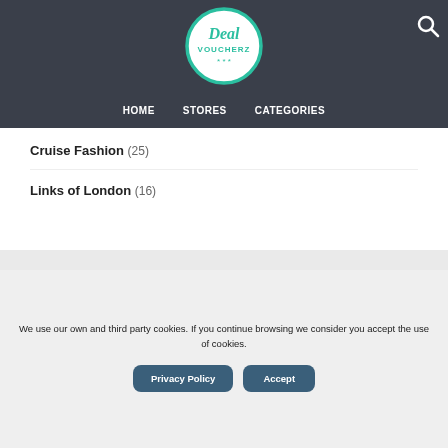[Figure (logo): Deal Voucherz logo - circular teal border with 'Deal VOUCHERZ' text and three stars]
HOME   STORES   CATEGORIES
Cruise Fashion (25)
Links of London (16)
We use our own and third party cookies. If you continue browsing we consider you accept the use of cookies.
Privacy Policy   Accept